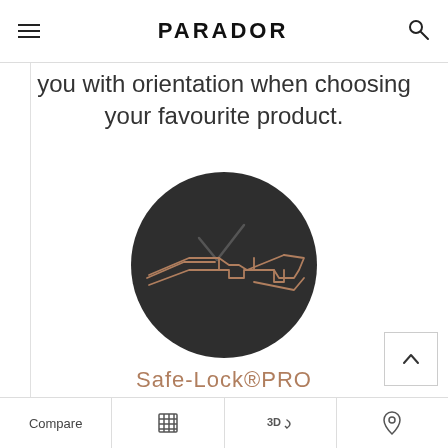PARADOR
you with orientation when choosing your favourite product.
[Figure (illustration): Dark circular icon with a bronze/copper colored outline drawing of interlocking floor panel click-lock joints and a checkmark above them, on a dark charcoal background.]
Safe-Lock®PRO
Compare | [calculator icon] | 3D | [location icon]